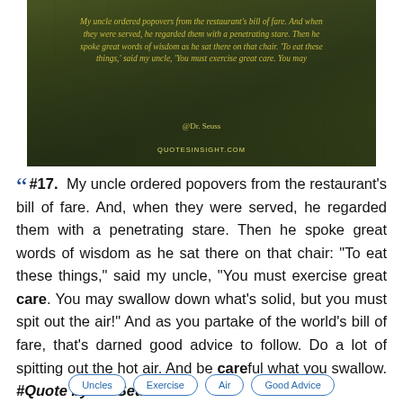[Figure (photo): Autumn park scene with orange/yellow trees and dark overlay. Yellow italic text of Dr. Seuss quote overlaid, with '@Dr. Seuss' attribution and 'QUOTESINSIGHT.COM' watermark.]
“” #17. My uncle ordered popovers from the restaurant's bill of fare. And, when they were served, he regarded them with a penetrating stare. Then he spoke great words of wisdom as he sat there on that chair: "To eat these things," said my uncle, "You must exercise great care. You may swallow down what's solid, but you must spit out the air!" And as you partake of the world's bill of fare, that's darned good advice to follow. Do a lot of spitting out the hot air. And be careful what you swallow. #Quote by Dr. Seuss ”
Uncles
Exercise
Air
Good Advice